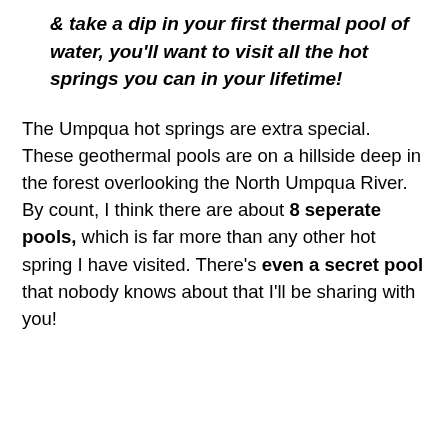& take a dip in your first thermal pool of water, you'll want to visit all the hot springs you can in your lifetime!
The Umpqua hot springs are extra special. These geothermal pools are on a hillside deep in the forest overlooking the North Umpqua River. By count, I think there are about 8 seperate pools, which is far more than any other hot spring I have visited. There's even a secret pool that nobody knows about that I'll be sharing with you!